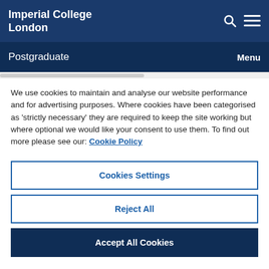Imperial College London
Postgraduate  Menu
We use cookies to maintain and analyse our website performance and for advertising purposes. Where cookies have been categorised as ‘strictly necessary’ they are required to keep the site working but where optional we would like your consent to use them. To find out more please see our: Cookie Policy
Cookies Settings
Reject All
Accept All Cookies